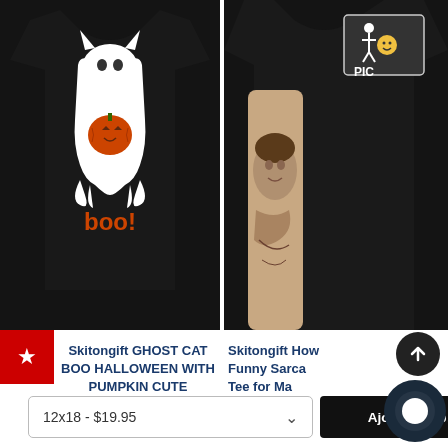[Figure (photo): Black T-shirt with ghost cat holding a pumpkin and text 'boo!' in orange]
[Figure (photo): Black T-shirt shown from the back, worn by a person with a tattoo on their arm, with a logo/text partially visible]
Skitongift GHOST CAT BOO HALLOWEEN WITH PUMPKIN CUTE HALLOWEEN
$16.95
Skitongift How Funny Sarca Tee for Ma
12x18 - $19.95
Ajouter au p...